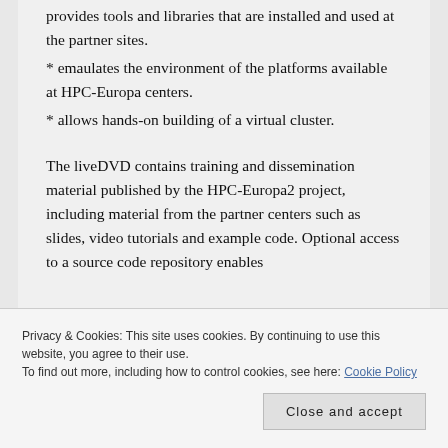provides tools and libraries that are installed and used at the partner sites.
* emaulates the environment of the platforms available at HPC-Europa centers.
* allows hands-on building of a virtual cluster.
The liveDVD contains training and dissemination material published by the HPC-Europa2 project, including material from the partner centers such as slides, video tutorials and example code. Optional access to a source code repository enables
Privacy & Cookies: This site uses cookies. By continuing to use this website, you agree to their use.
To find out more, including how to control cookies, see here: Cookie Policy
operating system, working completely